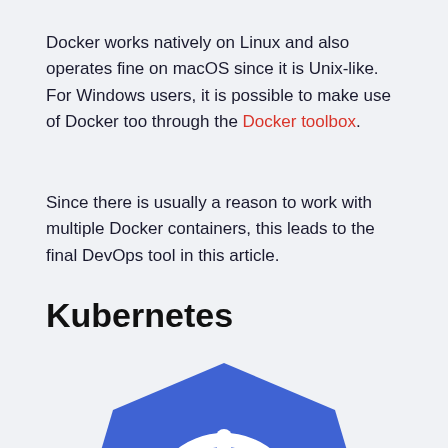Docker works natively on Linux and also operates fine on macOS since it is Unix-like. For Windows users, it is possible to make use of Docker too through the Docker toolbox.
Since there is usually a reason to work with multiple Docker containers, this leads to the final DevOps tool in this article.
Kubernetes
[Figure (logo): Kubernetes logo — a blue heptagon shape with a white ship's helm/wheel icon in the center]